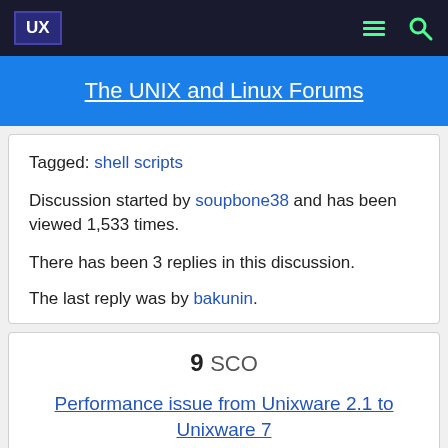UX | The UNIX and Linux Forums
Tagged: shell scripts
Discussion started by soupbone38 and has been viewed 1,533 times.
There has been 3 replies in this discussion.
The last reply was by bakunin.
9  SCO
Performance issue from Unixware 2.1 to Unixware 7